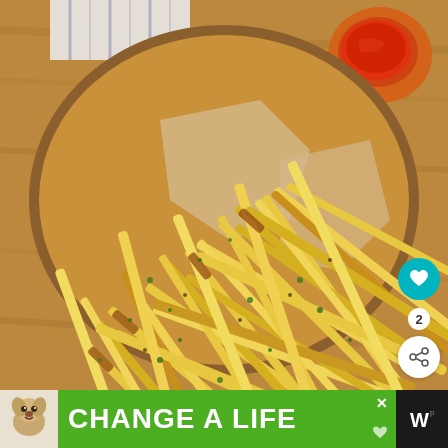[Figure (photo): A wooden bowl filled with crispy golden French fries seasoned with herbs (parsley), served with parchment paper lining. A small orange ceramic bowl of ketchup/dipping sauce is visible in the upper right. The bowl sits on a wooden surface with a striped cloth in the background. Teal heart button with heart icon on right side. Number '2' badge below heart. White circular share button below that.]
[Figure (photo): Advertisement banner at the bottom: white background with a dog photo on the left, green background with bold white text 'CHANGE A LIFE', close X button top right of green area, small heart icon bottom right of green area, dark right section with 'W' logo.]